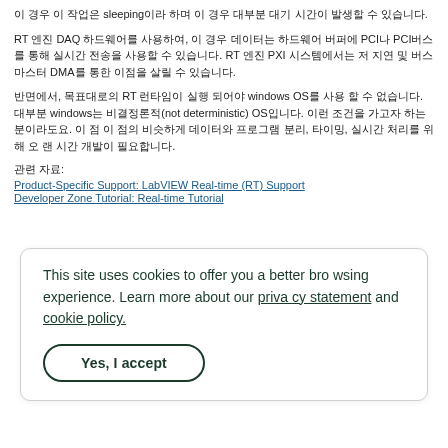이 경우 이 작업은 sleeping이라 하며 이 경우 대부분 대기 시간이 발생할 수 있습니다.
RT 엔진 DAQ 하드웨어를 사용하여, 이 경우 데이터는 하드웨어 버퍼에 PCI나 PCI버스를 통해 실시간 전송을 사용할 수 있습니다. RT 엔진 PXI 시스템에서는 저 지연 및 버스 마스터 DMA를 통한 이점을 살릴 수 있습니다.
반면에서, 목표대로의 RT 런타임이 실행 되어야 windows OS를 사용 할 수 없습니다. 대부분 windows는 비결정론적(not deterministic) OS입니다. 이런 조건을 가고자 하는분이라도요. 이 점 이 점의 비슷하게 데이터와 프로그램 분리, 타이밍, 실시간 처리를 위해 오 랜 시간 개발이 필요합니다.
관련 자료:
Product-Specific Support: LabVIEW Real-time (RT) Support
Developer Zone Tutorial: Real-time Tutorial
This site uses cookies to offer you a better browsing experience. Learn more about our privacy statement and cookie policy.
Yes, I accept